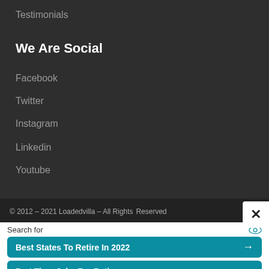Testimonials
We Are Social
Facebook
Twitter
Instagram
Linkedin
Youtube
© 2012 – 2021 Loadedvilla – All Rights Reserved
Search for
Best States To Retire In 2022
Part Time Jobs For Retirees
Yahoo! Search | Sponsored